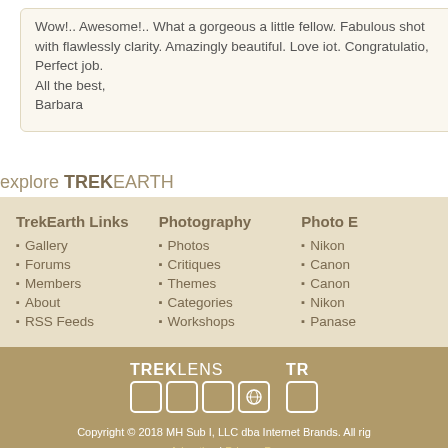Wow!.. Awesome!.. What a gorgeous a little fellow. Fabulous shot with flawlessly clarity. Amazingly beautiful. Love iot. Congratulatio, Perfect job.
All the best,
Barbara
explore TREKEARTH
TrekEarth Links: Gallery, Forums, Members, About, RSS Feeds
Photography: Photos, Critiques, Themes, Categories, Workshops
Photo E: Nikon, Canon, Canon, Nikon, Panase
[Figure (logo): TREKLENS logo with icon boxes and partial TR logo]
Copyright © 2018 MH Sub I, LLC dba Internet Brands. All rights reserved. Advertise | Privacy Po